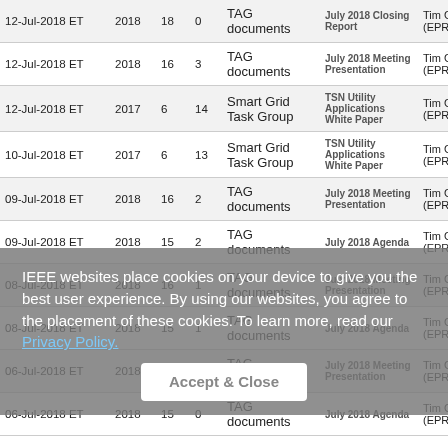| Date | Year | N | N2 | Category | Document | Author |
| --- | --- | --- | --- | --- | --- | --- |
| 12-Jul-2018 ET | 2018 | 18 | 0 | TAG documents | July 2018 Closing Report | Tim Godfrey (EPRI) |
| 12-Jul-2018 ET | 2018 | 16 | 3 | TAG documents | July 2018 Meeting Presentation | Tim Godfrey (EPRI) |
| 12-Jul-2018 ET | 2017 | 6 | 14 | Smart Grid Task Group | TSN Utility Applications White Paper | Tim Godfrey (EPRI) |
| 10-Jul-2018 ET | 2017 | 6 | 13 | Smart Grid Task Group | TSN Utility Applications White Paper | Tim Godfrey (EPRI) |
| 09-Jul-2018 ET | 2018 | 16 | 2 | TAG documents | July 2018 Meeting Presentation | Tim Godfrey (EPRI) |
| 09-Jul-2018 ET | 2018 | 15 | 2 | TAG documents | July 2018 Agenda | Tim Godfrey (EPRI) |
| 08-Jul-2018 ET | 2018 | 16 | 1 | TAG documents | July 2018 Meeting Presentation | Tim Godfrey (EPRI) |
| 08-Jul-2018 ET | 2018 | 15 | 1 | TAG documents | July 2018 Agenda | Tim Godfrey (EPRI) |
| 06-Jul-2018 ET | 2018 | 16 | 0 | TAG documents | July 2018 Meeting Presentation | Tim Godfrey (EPRI) |
| 06-Jul-2018 ET | 2018 | 15 | 0 | TAG documents | July 2018 Agenda | Tim Godfrey (EPRI) |